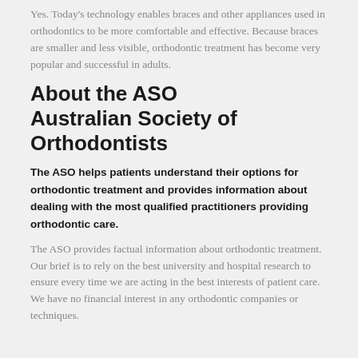Yes. Today's technology enables braces and other appliances used in orthodontics to be more comfortable and effective. Because braces are smaller and less visible, orthodontic treatment has become very popular and successful in adults.
About the ASO Australian Society of Orthodontists
The ASO helps patients understand their options for orthodontic treatment and provides information about dealing with the most qualified practitioners providing orthodontic care.
The ASO provides factual information about orthodontic treatment. Our brief is to rely on the best university and hospital research to ensure every time we are acting in the best interests of patient care. We have no financial interest in any orthodontic companies or techniques.